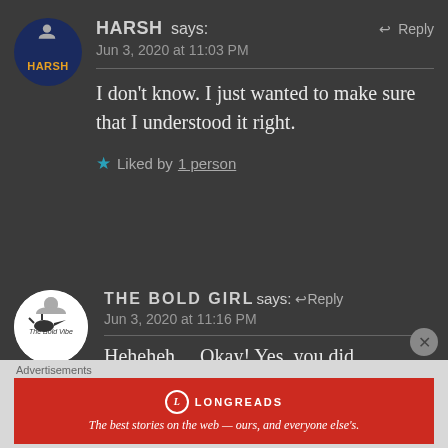HARSH says: Jun 3, 2020 at 11:03 PM — Reply
I don't know. I just wanted to make sure that I understood it right.
★ Liked by 1 person
THE BOLD GIRL says: Jun 3, 2020 at 11:16 PM — Reply
Heheheh… Okay! Yes, you did
Advertisements
[Figure (other): Longreads advertisement banner: red background with Longreads logo and text 'The best stories on the web — ours, and everyone else's.']